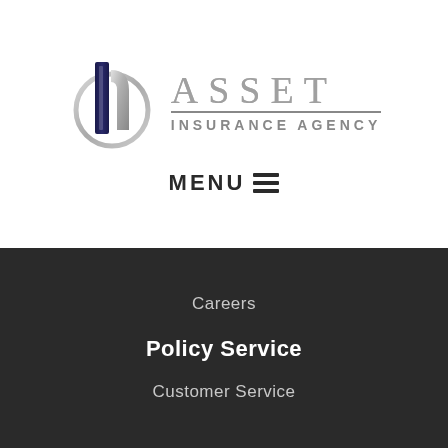[Figure (logo): Asset Insurance Agency logo with stylized building/shield icon in silver and navy blue, and the text ASSET INSURANCE AGENCY in silver/gray]
MENU ☰
Careers
Policy Service
Customer Service